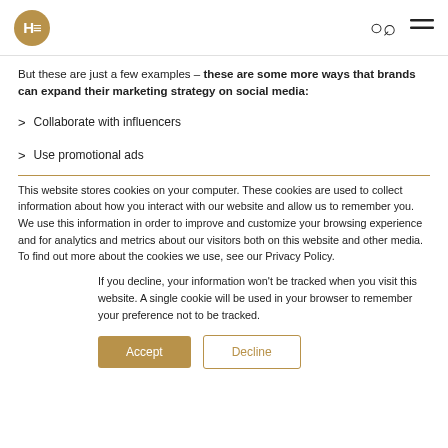HE [logo] — search and menu icons
But these are just a few examples – these are some more ways that brands can expand their marketing strategy on social media:
Collaborate with influencers
Use promotional ads
This website stores cookies on your computer. These cookies are used to collect information about how you interact with our website and allow us to remember you. We use this information in order to improve and customize your browsing experience and for analytics and metrics about our visitors both on this website and other media. To find out more about the cookies we use, see our Privacy Policy.
If you decline, your information won't be tracked when you visit this website. A single cookie will be used in your browser to remember your preference not to be tracked.